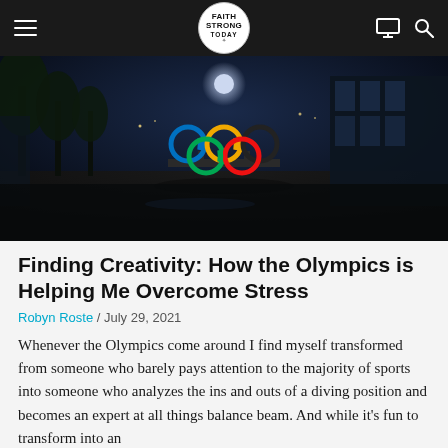Faith Strong Today — navigation bar with logo, hamburger menu, monitor icon, search icon
[Figure (photo): Night-time photo of Olympic rings monument illuminated with colored lights (blue, yellow, black, green, red) on a city street with trees and a glass building in the background]
Finding Creativity: How the Olympics is Helping Me Overcome Stress
Robyn Roste / July 29, 2021
Whenever the Olympics come around I find myself transformed from someone who barely pays attention to the majority of sports into someone who analyzes the ins and outs of a diving position and becomes an expert at all things balance beam. And while it's fun to transform into an